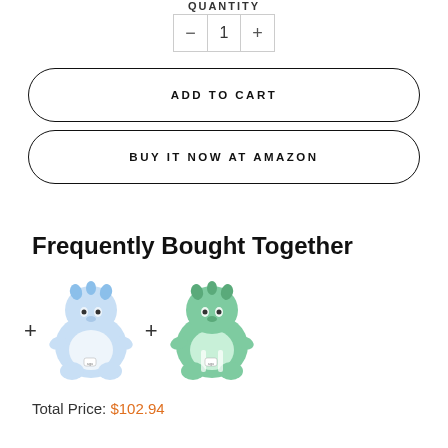QUANTITY
- 1 +
ADD TO CART
BUY IT NOW AT AMAZON
Frequently Bought Together
[Figure (photo): Two plush dinosaur backpacks side by side — one blue/white and one green/white — separated by plus signs]
Total Price: $102.94